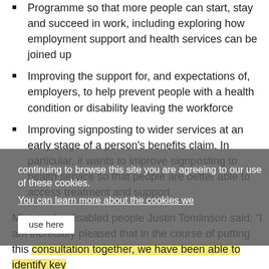Programme so that more people can start, stay and succeed in work, including exploring how employment support and health services can be joined up
Improving the support for, and expectations of, employers, to help prevent people with a health condition or disability leaving the workforce
Improving signposting to wider services at an early stage of a person's benefits claim. In particular, it wants to improve signposting to health service so that people are better able to access treatment and support.
Minister for disabled people Justin Tomlinson said: "I am incredibly pleased that in the course of putting this consultation together, we have been able to identify key themes for improvement.